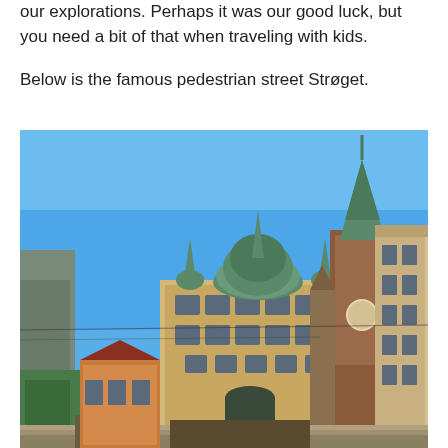our explorations. Perhaps it was our good luck, but you need a bit of that when traveling with kids.
Below is the famous pedestrian street Strøget.
[Figure (photo): Street-level photo of the famous pedestrian street Strøget in Copenhagen, Denmark. The image shows historic European buildings under a clear blue sky. A prominent building with a green copper dome and ornate facade is visible in the center-left, and a tall church tower with a green copper spire (St. Nicholas Church) rises behind it. To the right are traditional multi-story buildings with many windows. The street scene captures the architectural character of central Copenhagen.]